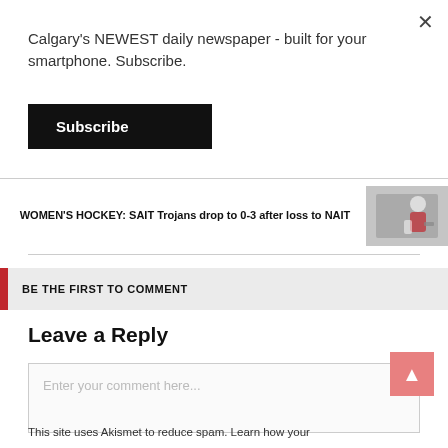Calgary's NEWEST daily newspaper - built for your smartphone. Subscribe.
Subscribe
WOMEN'S HOCKEY: SAIT Trojans drop to 0-3 after loss to NAIT
BE THE FIRST TO COMMENT
Leave a Reply
Enter your comment here...
This site uses Akismet to reduce spam. Learn how your comment data is processed.